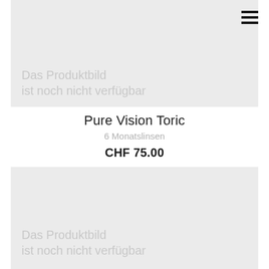[Figure (other): Product image placeholder — light grey rectangle with watermark text 'Das Produktbild ist noch nicht verfügbar']
Pure Vision Toric
6 Monatslinsen
CHF 75.00
[Figure (other): Second product image placeholder — light grey rectangle with watermark text 'Das Produktbild ist noch nicht verfügbar']